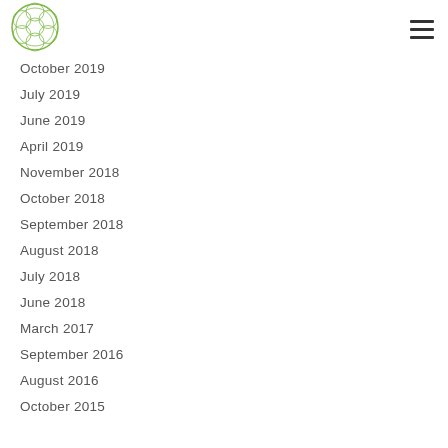Logo and navigation menu
October 2019
July 2019
June 2019
April 2019
November 2018
October 2018
September 2018
August 2018
July 2018
June 2018
March 2017
September 2016
August 2016
October 2015